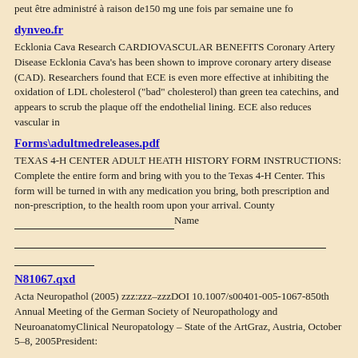peut être administré à raison de150 mg une fois par semaine une fo
dynveo.fr
Ecklonia Cava Research CARDIOVASCULAR BENEFITS Coronary Artery Disease Ecklonia Cava's has been shown to improve coronary artery disease (CAD). Researchers found that ECE is even more effective at inhibiting the oxidation of LDL cholesterol ("bad" cholesterol) than green tea catechins, and appears to scrub the plaque off the endothelial lining. ECE also reduces vascular in
Forms\adultmedreleases.pdf
TEXAS 4-H CENTER ADULT HEATH HISTORY FORM INSTRUCTIONS: Complete the entire form and bring with you to the Texas 4-H Center. This form will be turned in with any medication you bring, both prescription and non-prescription, to the health room upon your arrival. County ___________________________________Name
___________________________________________________
___________
N81067.qxd
Acta Neuropathol (2005) zzz:zzz–zzzDOI 10.1007/s00401-005-1067-850th Annual Meeting of the German Society of Neuropathology and NeuroanatomyClinical Neuropatology – State of the ArtGraz, Austria, October 5–8, 2005President: